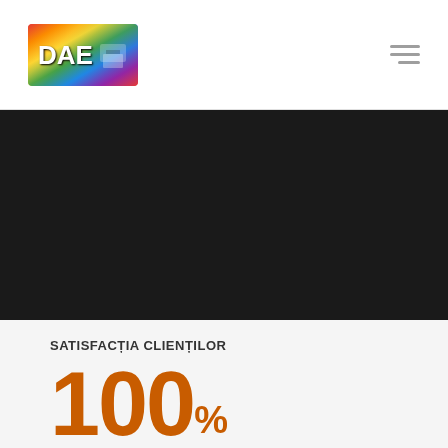[Figure (logo): Colorful holographic-style logo with letters DAE and a printer/device icon]
[Figure (illustration): Dark/black hero banner image area]
SATISFACȚIA CLIENȚILOR
100%